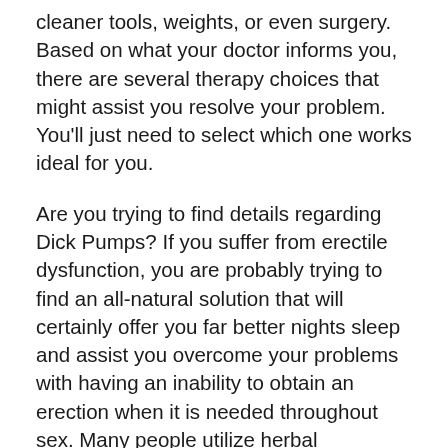cleaner tools, weights, or even surgery. Based on what your doctor informs you, there are several therapy choices that might assist you resolve your problem. You'll just need to select which one works ideal for you.
Are you trying to find details regarding Dick Pumps? If you suffer from erectile dysfunction, you are probably trying to find an all-natural solution that will certainly offer you far better nights sleep and assist you overcome your problems with having an inability to obtain an erection when it is needed throughout sex. Many people utilize herbal supplements to treat impotence or other clinical conditions. A few of these supplements, like Dick Pumps, have actually obtained good reviews, so perhaps you